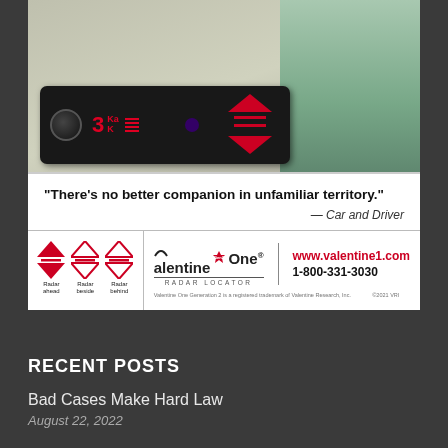[Figure (photo): Valentine One Generation 2 radar detector advertisement showing the device with red LED display showing '3 Ka K' and arrow icons, with a man in a green shirt in the background. Quote section reads: 'There's no better companion in unfamiliar territory.' — Car and Driver. Bottom shows Valentine One logo, www.valentine1.com, 1-800-331-3030, and radar direction icons.]
RECENT POSTS
Bad Cases Make Hard Law
August 22, 2022